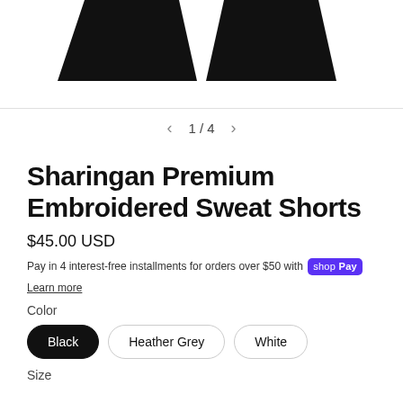[Figure (photo): Product photo showing black Sharingan Premium Embroidered Sweat Shorts, partial view of dark fabric waistband area]
1 / 4
Sharingan Premium Embroidered Sweat Shorts
$45.00 USD
Pay in 4 interest-free installments for orders over $50 with Shop Pay
Learn more
Color
Black
Heather Grey
White
Size